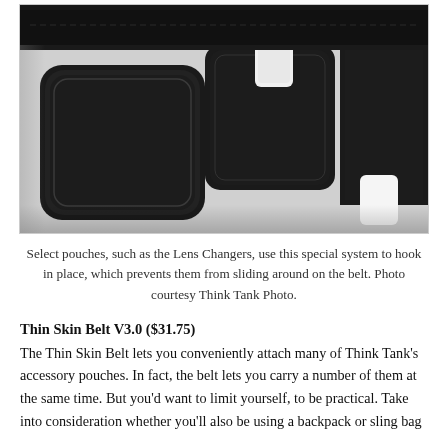[Figure (photo): Close-up photo of black camera belt pouches with velcro strap attachment system, showing hook-and-loop fasteners on dark equipment. Photo courtesy Think Tank Photo.]
Select pouches, such as the Lens Changers, use this special system to hook in place, which prevents them from sliding around on the belt. Photo courtesy Think Tank Photo.
Thin Skin Belt V3.0 ($31.75)
The Thin Skin Belt lets you conveniently attach many of Think Tank's accessory pouches. In fact, the belt lets you carry a number of them at the same time. But you'd want to limit yourself, to be practical. Take into consideration whether you'll also be using a backpack or sling bag